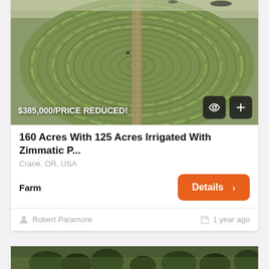[Figure (photo): Aerial drone photo of a 160-acre farm with circular irrigation patterns (center pivot) in green/brown field, with a dirt road running through the center]
$385,000/PRICE REDUCED!
160 Acres With 125 Acres Irrigated With Zimmatic P...
Crane, OR, USA
Farm
Details >
Robert Paramore
1 year ago
[Figure (photo): Partial view of another property listing photo showing trees, partially cut off at the bottom of the page]